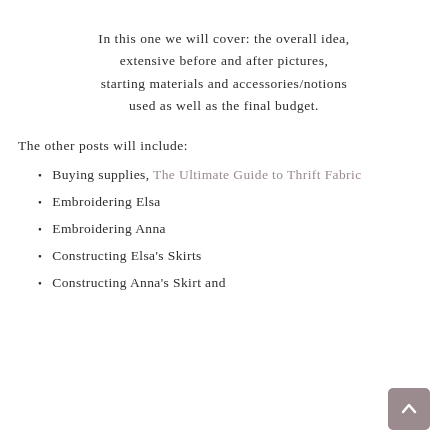In this one we will cover: the overall idea, extensive before and after pictures, starting materials and accessories/notions used as well as the final budget.
The other posts will include:
Buying supplies, The Ultimate Guide to Thrift Fabric
Embroidering Elsa
Embroidering Anna
Constructing Elsa's Skirts
Constructing Anna's Skirt and